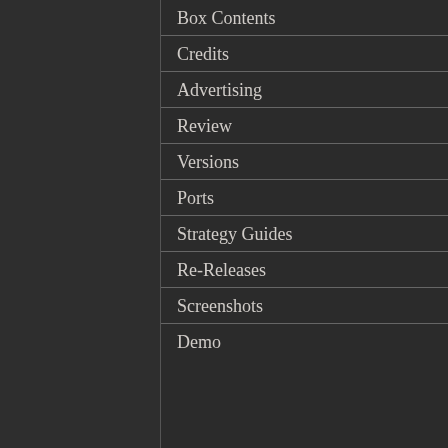Box Contents
Credits
Advertising
Review
Versions
Ports
Strategy Guides
Re-Releases
Screenshots
Demo